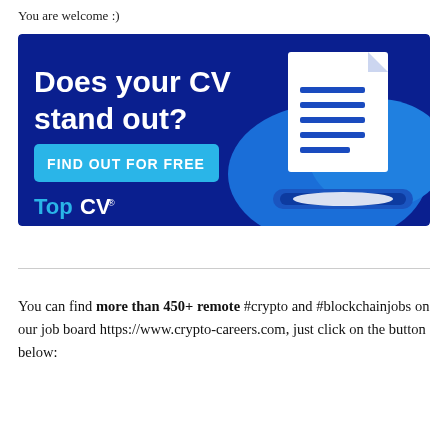You are welcome :)
[Figure (illustration): TopCV advertisement banner with dark blue background. Large white bold text reads 'Does your CV stand out?' with a cyan/light-blue button saying 'FIND OUT FOR FREE'. Bottom left shows 'TopCV' logo in cyan and white. Right side shows an illustration of a document/CV being submitted into a slot, with blue cloud shapes in background.]
You can find more than 450+ remote #crypto and #blockchainjobs on our job board https://www.crypto-careers.com, just click on the button below: